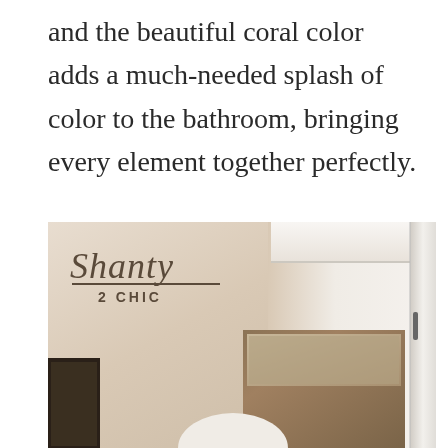and the beautiful coral color adds a much-needed splash of color to the bathroom, bringing every element together perfectly.

Get great tips for making your space your own at Decor Chick.
[Figure (photo): Interior room photo showing a bedroom or living area with cream/beige walls, crown molding, wooden furniture including a mirror in a wood frame, a dark picture frame on the left, and a door on the right. The Shanty 2 Chic logo is overlaid in the upper left corner of the photo.]